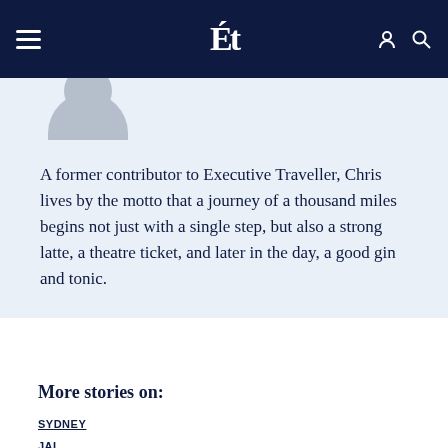Executive Traveller navigation bar with logo
[Figure (illustration): Partial avatar/profile photo placeholder with grey silhouette on light blue background]
A former contributor to Executive Traveller, Chris lives by the motto that a journey of a thousand miles begins not just with a single step, but also a strong latte, a theatre ticket, and later in the day, a good gin and tonic.
More stories on:
SYDNEY
JAL
JAPAN AIRLINES
TOKYO NARITA
FLIGHT REVIEW